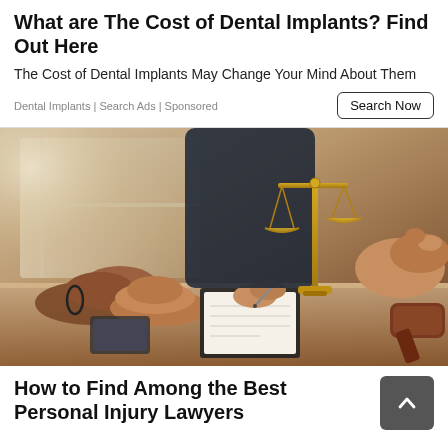What are The Cost of Dental Implants? Find Out Here
The Cost of Dental Implants May Change Your Mind About Them
Dental Implants | Search Ads | Sponsored
[Figure (photo): A legal consultation scene showing hands clasped on a table, a person writing on a clipboard, a gold balance scale, and a wooden gavel in a law office setting.]
How to Find Among the Best Personal Injury Lawyers